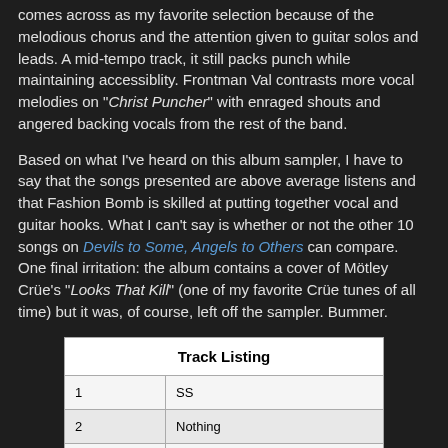comes across as my favorite selection because of the melodious chorus and the attention given to guitar solos and leads. A mid-tempo track, it still packs punch while maintaining accessiblity. Frontman Val contrasts more vocal melodies on "Christ Puncher" with enraged shouts and angered backing vocals from the rest of the band.
Based on what I've heard on this album sampler, I have to say that the songs presented are above average listens and that Fashion Bomb is skilled at putting together vocal and guitar hooks. What I can't say is whether or not the other 10 songs on Devils to Some, Angels to Others can compare. One final irritation: the album contains a cover of Mötley Crüe's "Looks That Kill" (one of my favorite Crüe tunes of all time) but it was, of course, left off the sampler. Bummer.
| Track Listing |
| --- |
| 1 | SS |
| 2 | Nothing |
| 3 | Low |